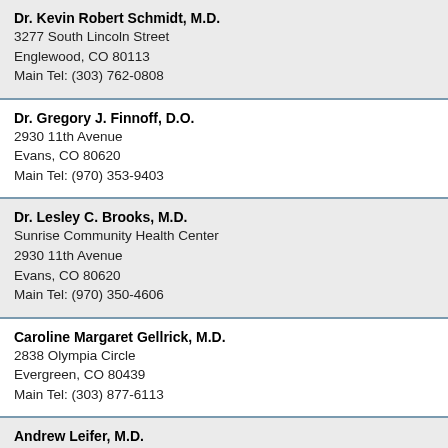Dr. Kevin Robert Schmidt, M.D.
3277 South Lincoln Street
Englewood, CO 80113
Main Tel: (303) 762-0808
Dr. Gregory J. Finnoff, D.O.
2930 11th Avenue
Evans, CO 80620
Main Tel: (970) 353-9403
Dr. Lesley C. Brooks, M.D.
Sunrise Community Health Center
2930 11th Avenue
Evans, CO 80620
Main Tel: (970) 350-4606
Caroline Margaret Gellrick, M.D.
2838 Olympia Circle
Evergreen, CO 80439
Main Tel: (303) 877-6113
Andrew Leifer, M.D.
1202 Bergen Parkway
Suite 211
Evergreen, CO 80439